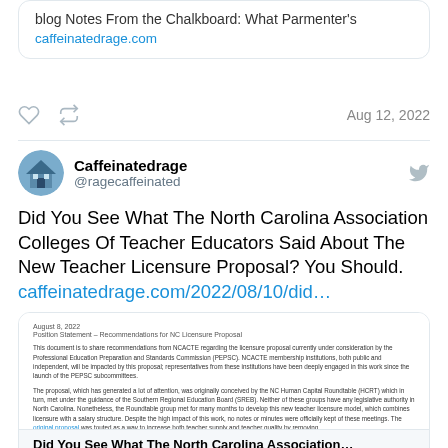blog Notes From the Chalkboard: What Parmenter's
caffeinatedrage.com
Aug 12, 2022
Caffeinatedrage @ragecaffeinated
Did You See What The North Carolina Association Colleges Of Teacher Educators Said About The New Teacher Licensure Proposal? You Should. caffeinatedrage.com/2022/08/10/did…
[Figure (screenshot): Embedded document preview showing NCACTE position statement dated August 8, 2022 about NC Licensure Proposal recommendations]
Did You See What The North Carolina Association…
You can find the entire document here with links. But